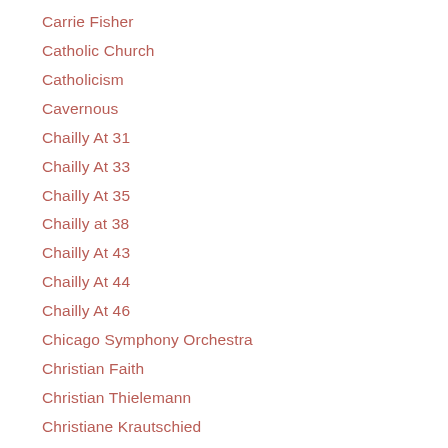Carrie Fisher
Catholic Church
Catholicism
Cavernous
Chailly At 31
Chailly At 33
Chailly At 35
Chailly at 38
Chailly At 43
Chailly At 44
Chailly At 46
Chicago Symphony Orchestra
Christian Faith
Christian Thielemann
Christiane Krautschied